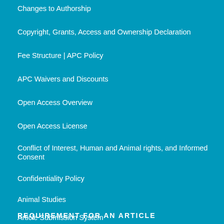Changes to Authorship
Copyright, Grants, Access and Ownership Declaration
Fee Structure | APC Policy
APC Waivers and Discounts
Open Access Overview
Open Access License
Conflict of Interest, Human and Animal rights, and Informed Consent
Confidentiality Policy
Animal Studies
Article Submission System
REQUIREMENT FOR AN ARTICLE